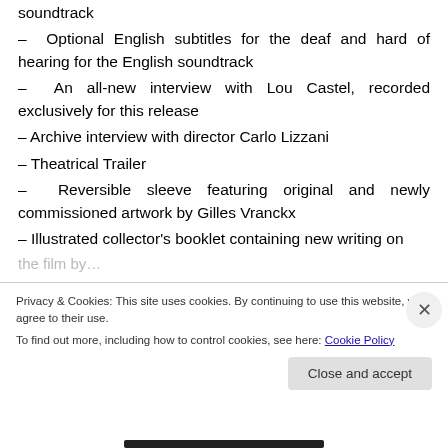soundtrack
– Optional English subtitles for the deaf and hard of hearing for the English soundtrack
– An all-new interview with Lou Castel, recorded exclusively for this release
– Archive interview with director Carlo Lizzani
– Theatrical Trailer
– Reversible sleeve featuring original and newly commissioned artwork by Gilles Vranckx
– Illustrated collector's booklet containing new writing on the film by…
Privacy & Cookies: This site uses cookies. By continuing to use this website, you agree to their use. To find out more, including how to control cookies, see here: Cookie Policy
Close and accept